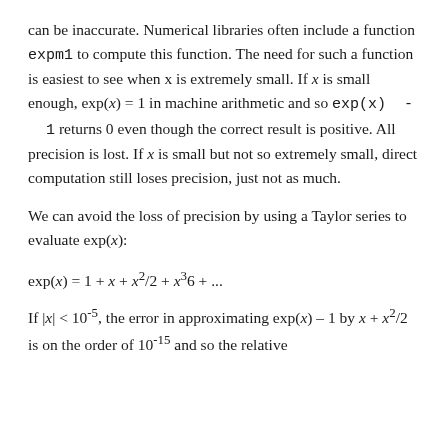can be inaccurate. Numerical libraries often include a function expm1 to compute this function. The need for such a function is easiest to see when x is extremely small. If x is small enough, exp(x) = 1 in machine arithmetic and so exp(x) - 1 returns 0 even though the correct result is positive. All precision is lost. If x is small but not so extremely small, direct computation still loses precision, just not as much.
We can avoid the loss of precision by using a Taylor series to evaluate exp(x):
If |x| < 10^{-5}, the error in approximating exp(x) – 1 by x + x^2/2 is on the order of 10^{-15} and so the relative